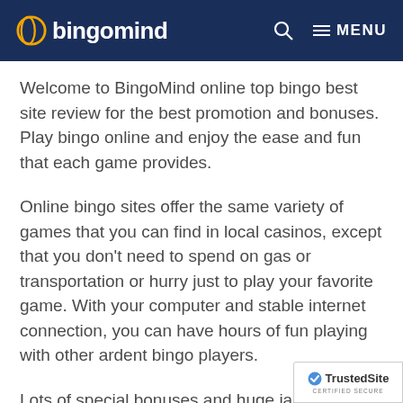bingomind — MENU
Welcome to BingoMind online top bingo best site review for the best promotion and bonuses. Play bingo online and enjoy the ease and fun that each game provides.
Online bingo sites offer the same variety of games that you can find in local casinos, except that you don't need to spend on gas or transportation or hurry just to play your favorite game. With your computer and stable internet connection, you can have hours of fun playing with other ardent bingo players.
Lots of special bonuses and huge jackpots